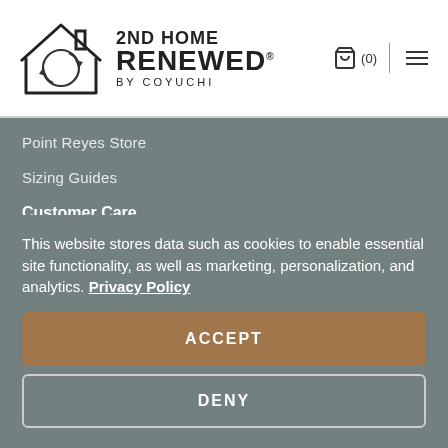[Figure (logo): 2nd Home Renewed by Coyuchi logo — house outline with circular arrows inside, brand name to the right]
Point Reyes Store
Sizing Guides
Customer Care
Contact Us
This website stores data such as cookies to enable essential site functionality, as well as marketing, personalization, and analytics. Privacy Policy
ACCEPT
DENY